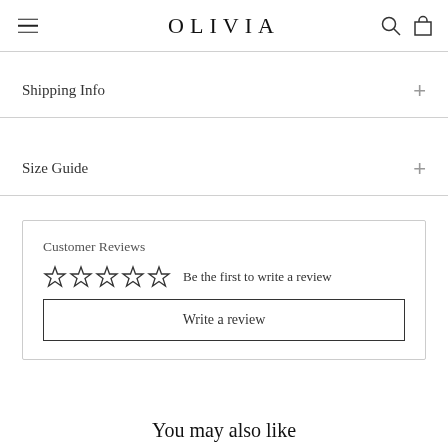OLIVIA
Shipping Info
Size Guide
Customer Reviews
☆☆☆☆☆ Be the first to write a review
Write a review
You may also like